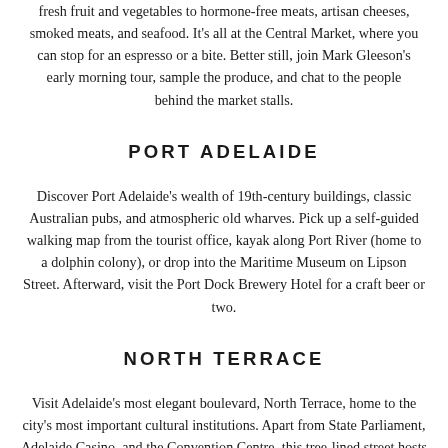fresh fruit and vegetables to hormone-free meats, artisan cheeses, smoked meats, and seafood. It's all at the Central Market, where you can stop for an espresso or a bite. Better still, join Mark Gleeson's early morning tour, sample the produce, and chat to the people behind the market stalls.
PORT ADELAIDE
Discover Port Adelaide's wealth of 19th-century buildings, classic Australian pubs, and atmospheric old wharves. Pick up a self-guided walking map from the tourist office, kayak along Port River (home to a dolphin colony), or drop into the Maritime Museum on Lipson Street. Afterward, visit the Port Dock Brewery Hotel for a craft beer or two.
NORTH TERRACE
Visit Adelaide's most elegant boulevard, North Terrace, home to the city's most important cultural institutions. Apart from State Parliament, Adelaide Casino, and the Convention Centre, this tree-lined street hosts the Art Gallery of South Australia, the South